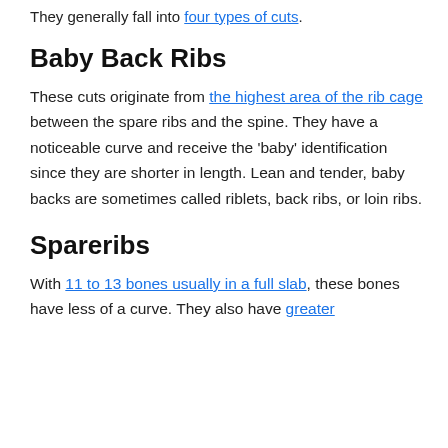They generally fall into four types of cuts.
Baby Back Ribs
These cuts originate from the highest area of the rib cage between the spare ribs and the spine. They have a noticeable curve and receive the 'baby' identification since they are shorter in length. Lean and tender, baby backs are sometimes called riblets, back ribs, or loin ribs.
Spareribs
With 11 to 13 bones usually in a full slab, these bones have less of a curve. They also have greater